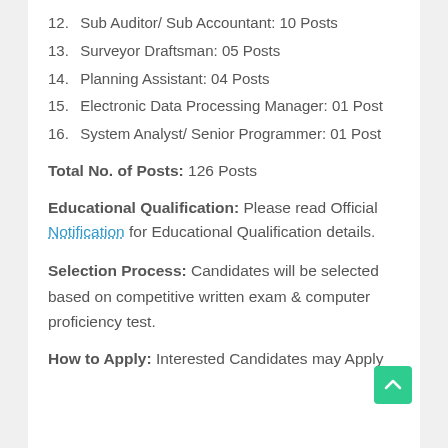12. Sub Auditor/ Sub Accountant: 10 Posts
13. Surveyor Draftsman: 05 Posts
14. Planning Assistant: 04 Posts
15. Electronic Data Processing Manager: 01 Post
16. System Analyst/ Senior Programmer: 01 Post
Total No. of Posts: 126 Posts
Educational Qualification: Please read Official Notification for Educational Qualification details.
Selection Process: Candidates will be selected based on competitive written exam & computer proficiency test.
How to Apply: Interested Candidates may Apply